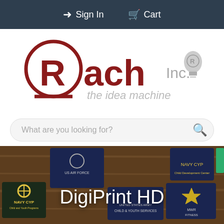Sign In   Cart
[Figure (logo): Rach Inc. logo — stylized R in a circle (dark red/brown), 'ach' in bold dark red, 'Inc.' in gray, 'the idea machine' in gray italic, with a lightbulb icon featuring a registered trademark symbol]
What are you looking for?
[Figure (photo): A photo of various printed signs/plaques on a wooden background, including Navy CYP Child and Youth Programs, US Air Force, United States Army Child & Youth Services, MWR Fitness, and others]
DigiPrint HD
DigiPrint HD